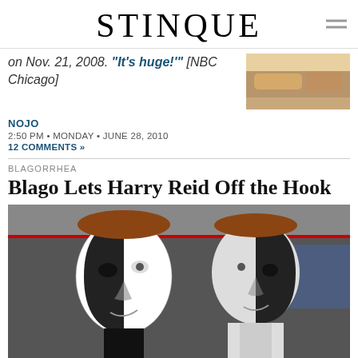STINQUE
on Nov. 21, 2008. "It's huge!'" [NBC Chicago]
[Figure (photo): Thumbnail photo showing a couch/sofa scene]
NOJO
2:50 PM • MONDAY • JUNE 28, 2010
12 COMMENTS »
BLAGORRHEA
Blago Lets Harry Reid Off the Hook
[Figure (photo): Black and white two-faced characters from Star Trek episode, one figure with face half black half white, another with opposite coloring]